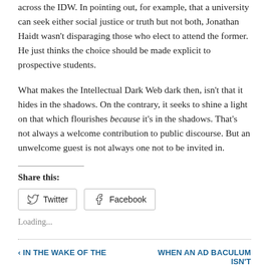across the IDW. In pointing out, for example, that a university can seek either social justice or truth but not both, Jonathan Haidt wasn't disparaging those who elect to attend the former. He just thinks the choice should be made explicit to prospective students.
What makes the Intellectual Dark Web dark then, isn't that it hides in the shadows. On the contrary, it seeks to shine a light on that which flourishes because it's in the shadows. That's not always a welcome contribution to public discourse. But an unwelcome guest is not always one not to be invited in.
Share this:
Twitter   Facebook
Loading...
‹ IN THE WAKE OF THE   WHEN AN AD BACULUM ISN'T